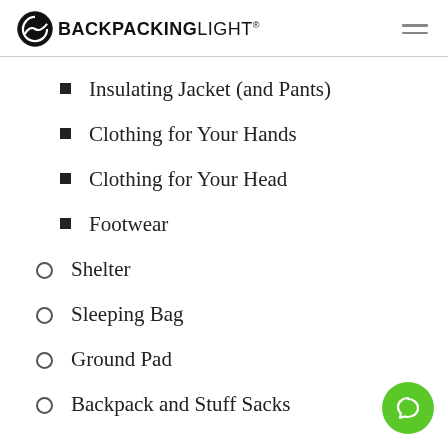BACKPACKINGLIGHT
Insulating Jacket (and Pants)
Clothing for Your Hands
Clothing for Your Head
Footwear
Shelter
Sleeping Bag
Ground Pad
Backpack and Stuff Sacks